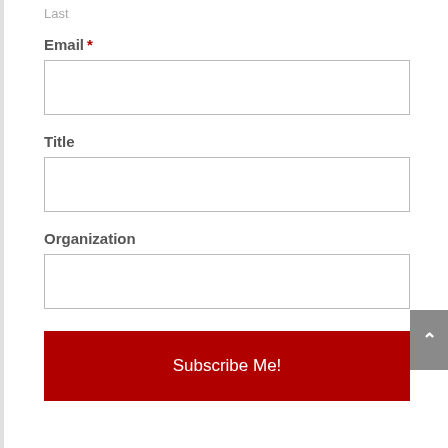Last
Email *
Title
Organization
Subscribe Me!